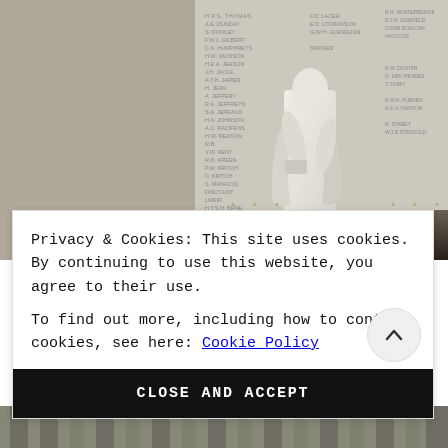[Figure (photo): A white marble statue of a person standing in front of a stone wall with many names engraved on it, in what appears to be a memorial setting inside a church or civic building.]
Privacy & Cookies: This site uses cookies. By continuing to use this website, you agree to their use.
To find out more, including how to control cookies, see here: Cookie Policy
CLOSE AND ACCEPT
[Figure (photo): Bottom strip of a building exterior photograph showing architectural columns or stonework.]